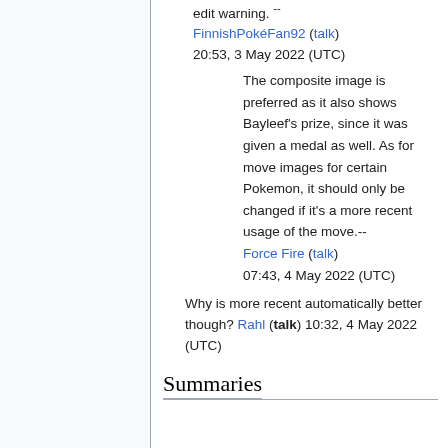edit warning. -- FinnishPokéFan92 (talk) 20:53, 3 May 2022 (UTC)
The composite image is preferred as it also shows Bayleef's prize, since it was given a medal as well. As for move images for certain Pokemon, it should only be changed if it's a more recent usage of the move.-- Force Fire (talk) 07:43, 4 May 2022 (UTC)
Why is more recent automatically better though? Rahl (talk) 10:32, 4 May 2022 (UTC)
Summaries